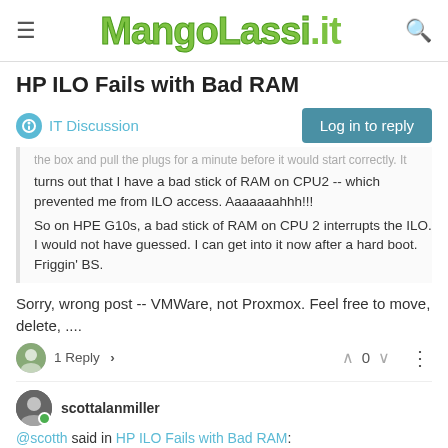MangoLassi.it
HP ILO Fails with Bad RAM
IT Discussion
the box and pull the plugs for a minute before it would start correctly. It turns out that I have a bad stick of RAM on CPU2 -- which prevented me from ILO access. Aaaaaaahhh!!!
So on HPE G10s, a bad stick of RAM on CPU 2 interrupts the ILO. I would not have guessed. I can get into it now after a hard boot.
Friggin' BS.
Sorry, wrong post -- VMWare, not Proxmox. Feel free to move, delete, ....
1 Reply
0
scottalanmiller
@scotth said in HP ILO Fails with Bad RAM: